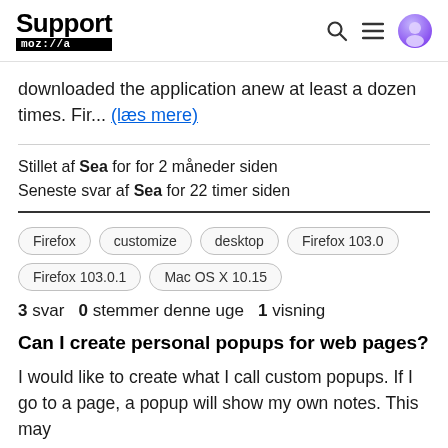Support mozilla:// [search icon] [menu icon] [user icon]
downloaded the application anew at least a dozen times. Fir... (læs mere)
Stillet af Sea for for 2 måneder siden
Seneste svar af Sea for 22 timer siden
Firefox  customize  desktop  Firefox 103.0  Firefox 103.0.1  Mac OS X 10.15
3 svar  0 stemmer denne uge  1 visning
Can I create personal popups for web pages?
I would like to create what I call custom popups. If I go to a page, a popup will show my own notes. This may